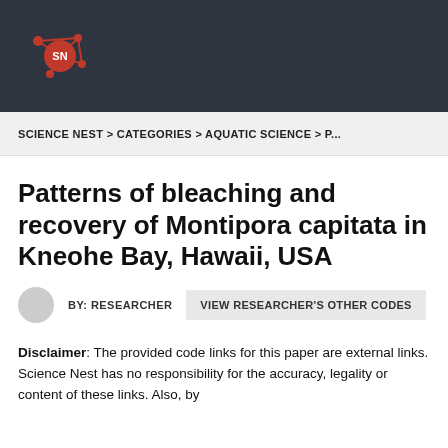[Figure (logo): Science Nest logo: red network/molecule icon with 'SN' letters on dark background]
SCIENCE NEST > CATEGORIES > AQUATIC SCIENCE > P...
Patterns of bleaching and recovery of Montipora capitata in Kneohe Bay, Hawaii, USA
BY: RESEARCHER
VIEW RESEARCHER'S OTHER CODES
Disclaimer: The provided code links for this paper are external links. Science Nest has no responsibility for the accuracy, legality or content of these links. Also, by